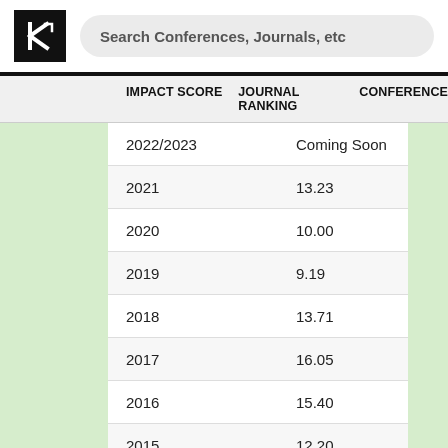[Figure (logo): Research ranking site logo: bold K with arrow in black square]
Search Conferences, Journals, etc
| IMPACT SCORE | JOURNAL RANKING | CONFERENCE |
| --- | --- | --- |
| 2022/2023 | Coming Soon |  |
| 2021 | 13.23 |  |
| 2020 | 10.00 |  |
| 2019 | 9.19 |  |
| 2018 | 13.71 |  |
| 2017 | 16.05 |  |
| 2016 | 15.40 |  |
| 2015 | 12.20 |  |
| 2014 | 10.73 |  |